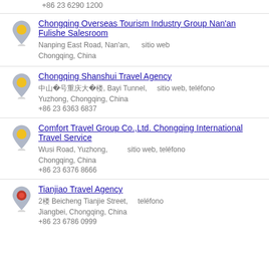+86 23 6290 1200
Chongqing Overseas Tourism Industry Group Nan'an Fulishe Salesroom
Nanping East Road, Nan'an, Chongqing, China
sitio web
Chongqing Shanshui Travel Agency
中山路32号重庆大厦13楼, Bayi Tunnel, Yuzhong, Chongqing, China
+86 23 6363 6837
sitio web, teléfono
Comfort Travel Group Co.,Ltd. Chongqing International Travel Service
Wusi Road, Yuzhong, Chongqing, China
+86 23 6376 8666
sitio web, teléfono
Tianjiao Travel Agency
2楼 Beicheng Tianjie Street, Jiangbei, Chongqing, China
+86 23 6786 0999
teléfono